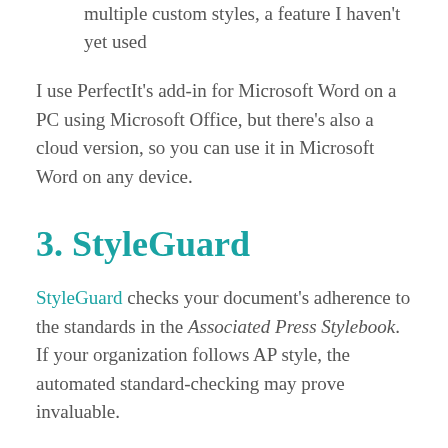multiple custom styles, a feature I haven't yet used
I use PerfectIt's add-in for Microsoft Word on a PC using Microsoft Office, but there's also a cloud version, so you can use it in Microsoft Word on any device.
3. StyleGuard
StyleGuard checks your document's adherence to the standards in the Associated Press Stylebook. If your organization follows AP style, the automated standard-checking may prove invaluable.
However, if your organization doesn't need to—